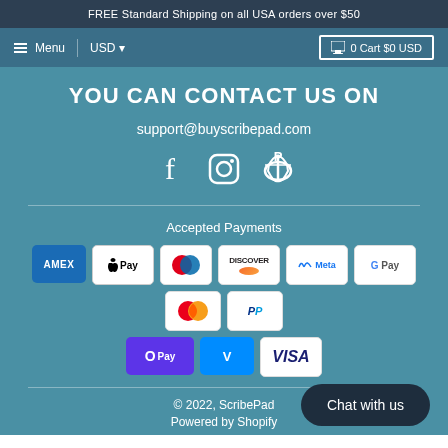FREE Standard Shipping on all USA orders over $50
Menu  USD  0 Cart $0 USD
YOU CAN CONTACT US ON
support@buyscribepad.com
[Figure (illustration): Social media icons: Facebook, Instagram, Pinterest]
Accepted Payments
[Figure (illustration): Payment method badges: AMEX, Apple Pay, Diners Club, Discover, Meta Pay, Google Pay, Mastercard, PayPal, OPay, Venmo, Visa]
© 2022, ScribePad  Powered by Shopify
Chat with us